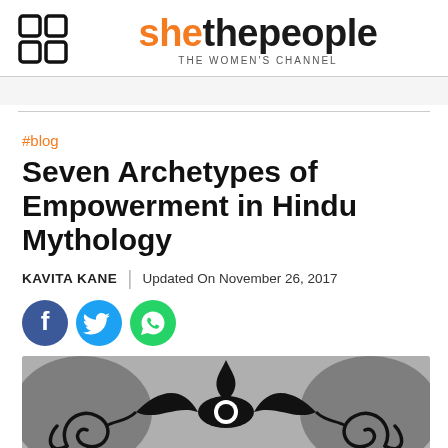shethepeople THE WOMEN'S CHANNEL
#blog
Seven Archetypes of Empowerment in Hindu Mythology
KAVITA KANE | Updated On November 26, 2017
[Figure (illustration): Social share icons: Facebook (dark blue circle), Twitter (light blue circle), WhatsApp (green circle)]
[Figure (illustration): Decorative Hindu mythology artwork showing stylized eyes and ornamental swirling designs in black and white]